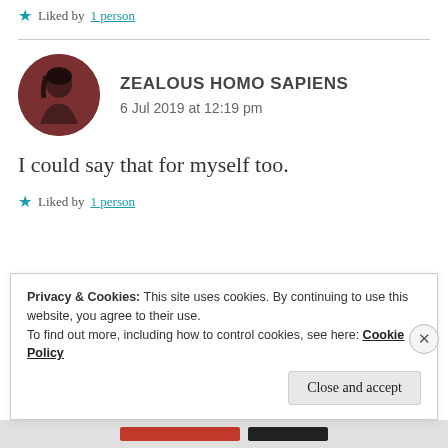Liked by 1 person
ZEALOUS HOMO SAPIENS
6 Jul 2019 at 12:19 pm
[Figure (illustration): Circular avatar image with dark reddish-brown background showing a silhouette of a person with dark hair]
I could say that for myself too.
Liked by 1 person
Privacy & Cookies: This site uses cookies. By continuing to use this website, you agree to their use.
To find out more, including how to control cookies, see here: Cookie Policy
Close and accept